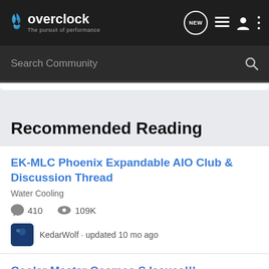overclock — The pursuit of performance
Search Community
Recommended Reading
EK-MLC Phoenix Expandable AIO Club & Discussion Thread
Water Cooling
410 comments · 109K views
KedarWolf · updated 10 mo ago
Cooler Master Cosmos S Issues!!!
Computer Cases